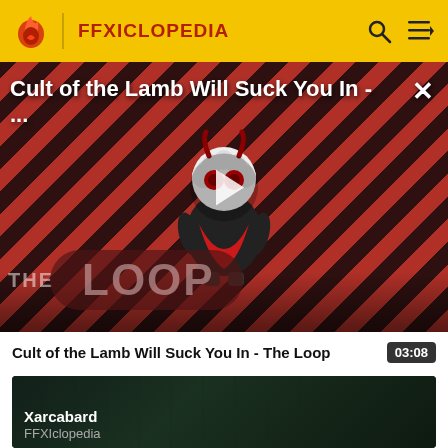FFXICLOPEDIA
[Figure (screenshot): Video thumbnail for 'Cult of the Lamb Will Suck You In - The Loop' showing a cartoon lamb character with red eyes on a diagonal red and black striped background with THE LOOP text and a play button overlay]
Cult of the Lamb Will Suck You In - ...
Cult of the Lamb Will Suck You In - The Loop  03:08
[Figure (screenshot): Dark green dungeon-like background thumbnail for Xarcabard video]
Xarcabard
FFXIclopedia